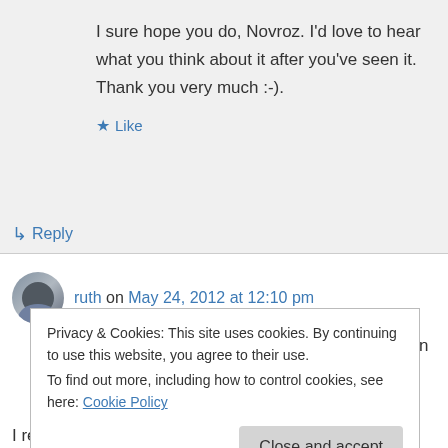I sure hope you do, Novroz. I'd love to hear what you think about it after you've seen it. Thank you very much :-).
★ Like
↳ Reply
ruth on May 24, 2012 at 12:10 pm
What an excellent write-up and prime selection for this blogathon, Michael. I haven't seen this in
Privacy & Cookies: This site uses cookies. By continuing to use this website, you agree to their use. To find out more, including how to control cookies, see here: Cookie Policy
Close and accept
I really think this is one of Clive Owen's best